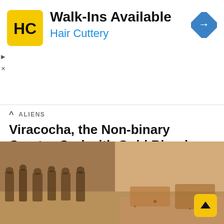[Figure (logo): Hair Cuttery advertisement banner with HC logo in yellow square, arrow icon, text Walk-Ins Available and Hair Cuttery]
ALIENS
Viracocha, the Non-binary Creator God with Gold Blood
Viracocha, the sun god, and supreme creator was sacred to the Inca Empire, as was gold. However, gold had no material value but represented Viracocha's blood and...
by Ancient Code Team 4 months ago
[Figure (photo): Ancient stone carvings or petroglyphs on sandy/rocky surface, brown tones, partial view of carved figures]